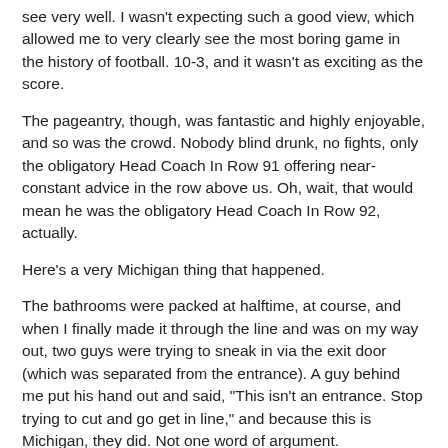see very well. I wasn't expecting such a good view, which allowed me to very clearly see the most boring game in the history of football. 10-3, and it wasn't as exciting as the score.
The pageantry, though, was fantastic and highly enjoyable, and so was the crowd. Nobody blind drunk, no fights, only the obligatory Head Coach In Row 91 offering near-constant advice in the row above us. Oh, wait, that would mean he was the obligatory Head Coach In Row 92, actually.
Here's a very Michigan thing that happened.
The bathrooms were packed at halftime, at course, and when I finally made it through the line and was on my way out, two guys were trying to sneak in via the exit door (which was separated from the entrance). A guy behind me put his hand out and said, "This isn't an entrance. Stop trying to cut and go get in line," and because this is Michigan, they did. Not one word of argument.
If it wasn't for the hellspawn of weather, this would be an